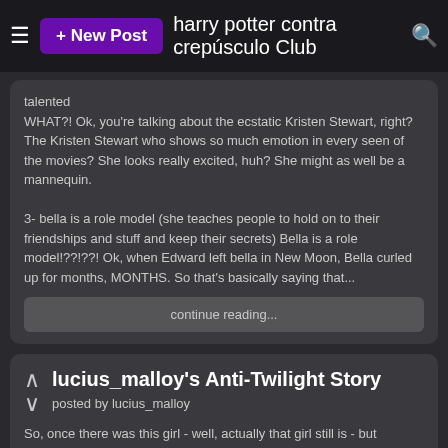+ New Post harry potter contra crepúsculo Club
talented
WHAT?! Ok, you're talking about the ecstatic Kristen Stewart, right? The Kristen Stewart who shows so much emotion in every seen of the movies? She looks really excited, huh? She might as well be a mannequin.

3- bella is a role model (she teaches people to hold on to their friendships and stuff and keep their secrets) Bella is a role model!??!??! Ok, when Edward left bella in New Moon, Bella curled up for months, MONTHS. So that's basically saying that...
continue reading...
lucius_malloy's Anti-Twilight Story
posted by lucius_malloy
So, once there was this girl - well, actually that girl still is - but anyway, this girl who we'll call Emma, for the purposes of now. (Well, actually, we'll call her that because it's her name. But you get the point.)